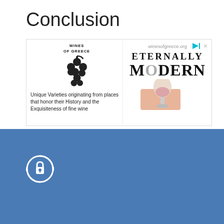Conclusion
[Figure (other): Wines of Greece advertisement banner showing grape cluster logo, text 'Unique Varieties originating from places that honor their History and the Exquisiteness of fine wine', winesofgreece.org URL, and 'ETERNALLY MODERN' text with wine glass photo]
We use cook on this site
[Figure (other): Cookie consent icon - shield with key/lock symbol in white on blue background]
OK